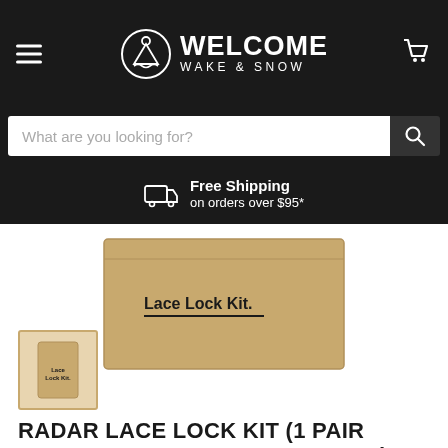WELCOME WAKE & SNOW
What are you looking for?
Free Shipping
on orders over $95*
[Figure (photo): Product photo: a kraft cardboard box labeled 'Lace Lock Kit.' with a dark horizontal line beneath the text]
[Figure (photo): Thumbnail image of the Lace Lock Kit product box]
RADAR LACE LOCK KIT (1 PAIR BLACK LACE, BUNGEE & LOCKS)